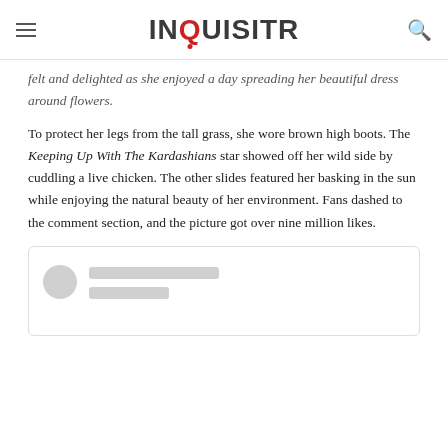INQUISITR
…felt and delighted as she enjoyed a day spreading her beautiful dress around flowers.
To protect her legs from the tall grass, she wore brown high boots. The Keeping Up With The Kardashians star showed off her wild side by cuddling a live chicken. The other slides featured her basking in the sun while enjoying the natural beauty of her environment. Fans dashed to the comment section, and the picture got over nine million likes.
[Figure (screenshot): Embedded social media post placeholder with avatar circle and two grey placeholder lines]